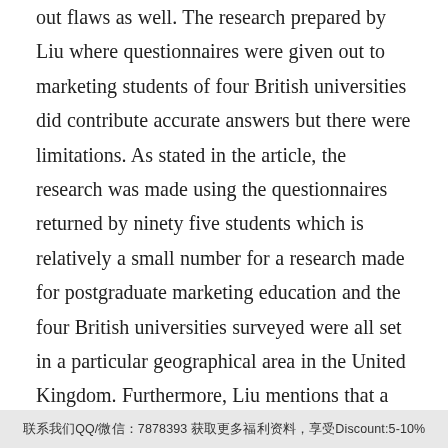out flaws as well. The research prepared by Liu where questionnaires were given out to marketing students of four British universities did contribute accurate answers but there were limitations. As stated in the article, the research was made using the questionnaires returned by ninety five students which is relatively a small number for a research made for postgraduate marketing education and the four British universities surveyed were all set in a particular geographical area in the United Kingdom. Furthermore, Liu mentions that a single quantitative method is used in data collection and that there is no qualitative approach practised in the research. Even so, Liu points out differences between home and international students which
联系我们QQ/微信：7878393 获取更多福利资料，享受Discount:5-10%